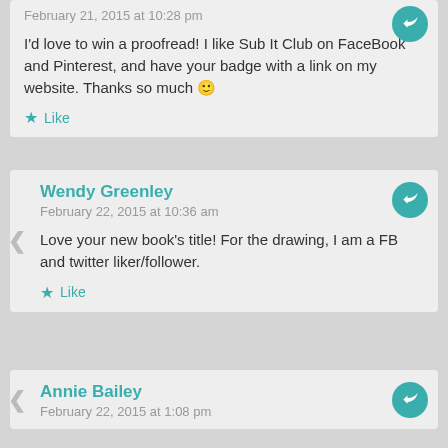February 21, 2015 at 10:28 pm
I'd love to win a proofread! I like Sub It Club on FaceBook and Pinterest, and have your badge with a link on my website. Thanks so much 🙂
Like
Wendy Greenley
February 22, 2015 at 10:36 am
Love your new book's title! For the drawing, I am a FB and twitter liker/follower.
Like
Annie Bailey
February 22, 2015 at 1:08 pm